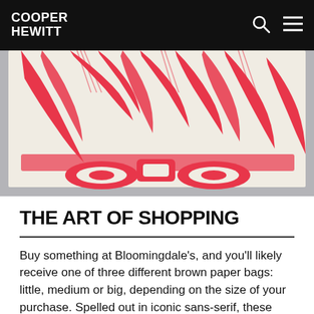COOPER HEWITT
[Figure (photo): Close-up of a red and cream woodblock print or textile showing an abstract face with stylized hair, eyes and nose in bold red lines on a white/cream background. The artwork is photographed against a gray background.]
THE ART OF SHOPPING
Buy something at Bloomingdale’s, and you’ll likely receive one of three different brown paper bags: little, medium or big, depending on the size of your purchase. Spelled out in iconic sans-serif, these size